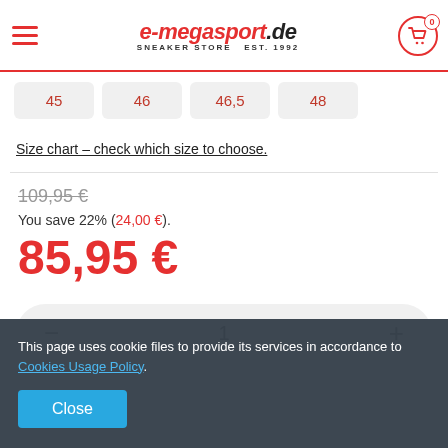e-megasport.de SNEAKER STORE EST. 1992
45
46
46,5
48
Size chart - check which size to choose.
109,95 €
You save 22% (24,00 €).
85,95 €
- 1 +
This page uses cookie files to provide its services in accordance to Cookies Usage Policy.
Close